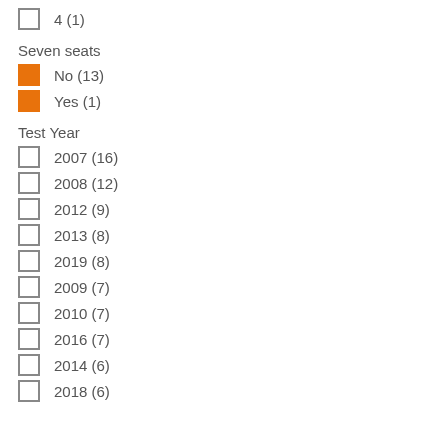4 (1)
Seven seats
No (13)
Yes (1)
Test Year
2007 (16)
2008 (12)
2012 (9)
2013 (8)
2019 (8)
2009 (7)
2010 (7)
2016 (7)
2014 (6)
2018 (6)